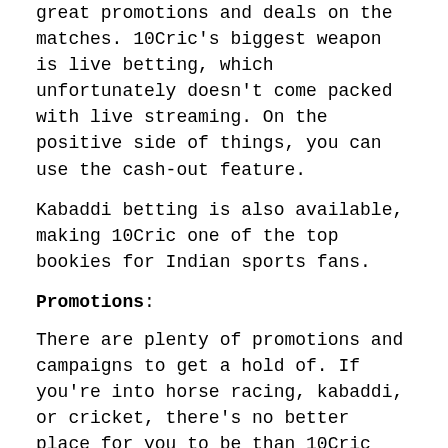great promotions and deals on the matches. 10Cric's biggest weapon is live betting, which unfortunately doesn't come packed with live streaming. On the positive side of things, you can use the cash-out feature.
Kabaddi betting is also available, making 10Cric one of the top bookies for Indian sports fans.
Promotions:
There are plenty of promotions and campaigns to get a hold of. If you're into horse racing, kabaddi, or cricket, there's no better place for you to be than 10Cric Sports.
Make sure to visit 10Cric during holidays or long weekends to snatch a promotion and get extra money to bet for. Or, visit Cashup Clubs Facebook page where we share the latest promos.
VIP & LOYALTY PROGRAM
10Cric's loyalty program is a solid idea that will bring you